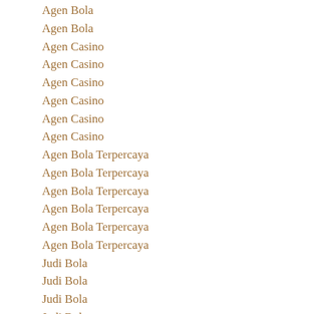Agen Bola
Agen Bola
Agen Casino
Agen Casino
Agen Casino
Agen Casino
Agen Casino
Agen Casino
Agen Bola Terpercaya
Agen Bola Terpercaya
Agen Bola Terpercaya
Agen Bola Terpercaya
Agen Bola Terpercaya
Agen Bola Terpercaya
Judi Bola
Judi Bola
Judi Bola
Judi Bola
Judi Bola
Judi Bola
Judi Online
Judi Online
Judi Online